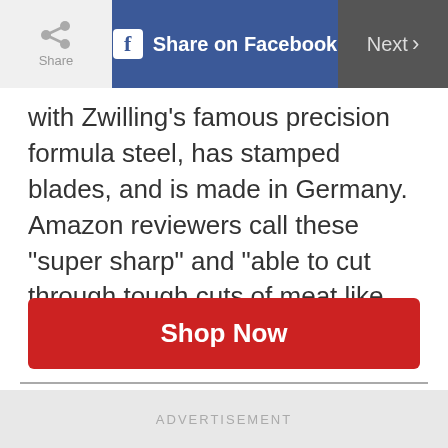Share | Share on Facebook | Next
with Zwilling’s famous precision formula steel, has stamped blades, and is made in Germany. Amazon reviewers call these “super sharp” and “able to cut through tough cuts of meat like butter.”
Shop Now
ADVERTISEMENT